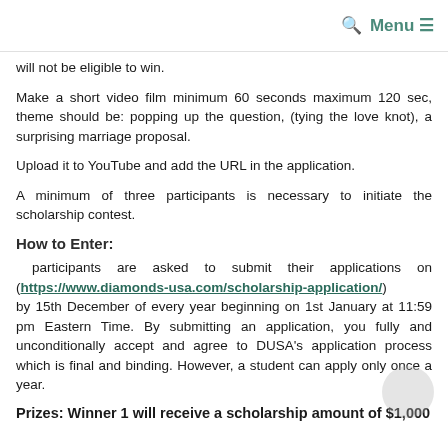Menu ≡
will not be eligible to win.
Make a short video film minimum 60 seconds maximum 120 sec, theme should be: popping up the question, (tying the love knot), a surprising marriage proposal.
Upload it to YouTube and add the URL in the application.
A minimum of three participants is necessary to initiate the scholarship contest.
How to Enter:
participants are asked to submit their applications on (https://www.diamonds-usa.com/scholarship-application/) by 15th December of every year beginning on 1st January at 11:59 pm Eastern Time. By submitting an application, you fully and unconditionally accept and agree to DUSA's application process which is final and binding. However, a student can apply only once a year.
Prizes: Winner 1 will receive a scholarship amount of $1,000